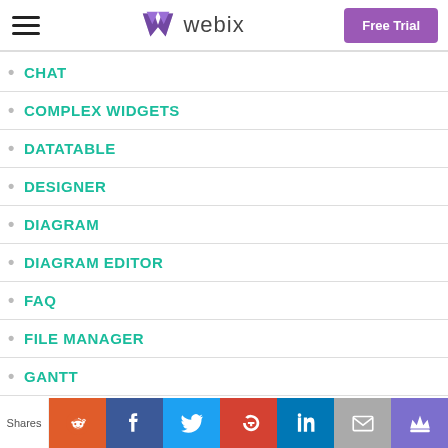Webix — Free Trial
CHAT
COMPLEX WIDGETS
DATATABLE
DESIGNER
DIAGRAM
DIAGRAM EDITOR
FAQ
FILE MANAGER
GANTT
GUIDE
Shares | Reddit | Facebook | Twitter | Google+ | LinkedIn | Email | Crown